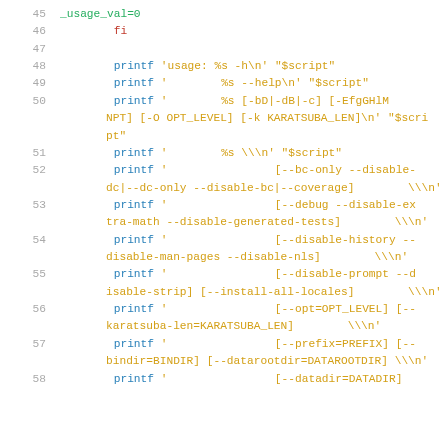45    _usage_val=0
46    fi
47
48        printf 'usage: %s -h\n' "$script"
49        printf '        %s --help\n' "$script"
50        printf '        %s [-bD|-dB|-c] [-EfgGHlMNPT] [-O OPT_LEVEL] [-k KARATSUBA_LEN]\n' "$script"
51        printf '        %s \\\n' "$script"
52        printf '                [--bc-only --disable-dc|--dc-only --disable-bc|--coverage]        \\\n'
53        printf '                [--debug --disable-extra-math --disable-generated-tests]        \\\n'
54        printf '                [--disable-history --disable-man-pages --disable-nls]        \\\n'
55        printf '                [--disable-prompt --disable-strip] [--install-all-locales]        \\\n'
56        printf '                [--opt=OPT_LEVEL] [--karatsuba-len=KARATSUBA_LEN]        \\\n'
57        printf '                [--prefix=PREFIX] [--bindir=BINDIR] [--datarootdir=DATAROOTDIR] \\\n'
58        printf '                [--datadir=DATADIR]